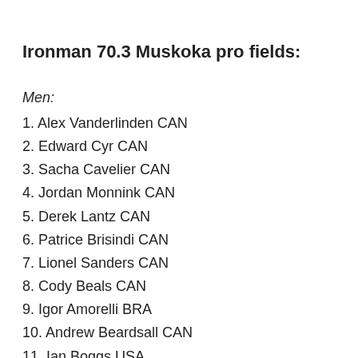Ironman 70.3 Muskoka pro fields:
Men:
1. Alex Vanderlinden CAN
2. Edward Cyr CAN
3. Sacha Cavelier CAN
4. Jordan Monnink CAN
5. Derek Lantz CAN
6. Patrice Brisindi CAN
7. Lionel Sanders CAN
8. Cody Beals CAN
9. Igor Amorelli BRA
10. Andrew Beardsall CAN
11. Ian Boggs USA
12. Nicholas Chase USA
14. Tom Eickelberg USA
15. Nick Glavac CAN
16. Nigel Gray CAN
17. Antoine Jolicoeur Desroches CAN